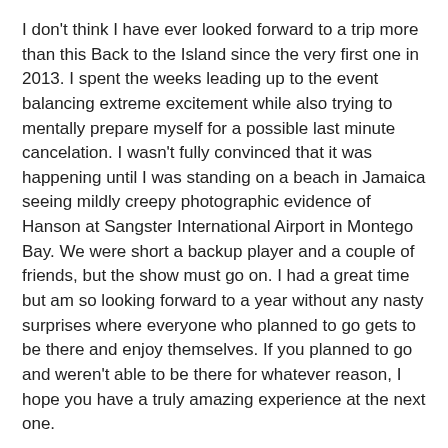I don't think I have ever looked forward to a trip more than this Back to the Island since the very first one in 2013. I spent the weeks leading up to the event balancing extreme excitement while also trying to mentally prepare myself for a possible last minute cancelation. I wasn't fully convinced that it was happening until I was standing on a beach in Jamaica seeing mildly creepy photographic evidence of Hanson at Sangster International Airport in Montego Bay. We were short a backup player and a couple of friends, but the show must go on. I had a great time but am so looking forward to a year without any nasty surprises where everyone who planned to go gets to be there and enjoy themselves. If you planned to go and weren't able to be there for whatever reason, I hope you have a truly amazing experience at the next one.
Full Band Shows
I have no idea what Hanson's original plans for these shows were when they thought they had a five-piece band, and I'm